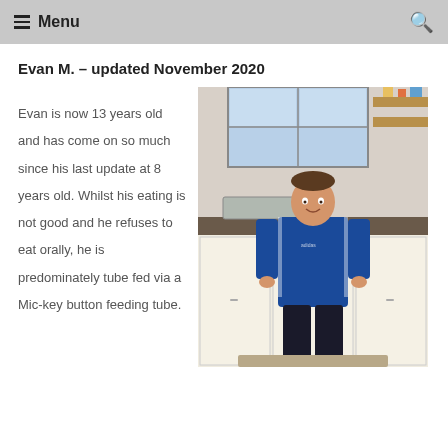Menu
Evan M. – updated November 2020
Evan is now 13 years old and has come on so much since his last update at 8 years old. Whilst his eating is not good and he refuses to eat orally, he is predominately tube fed via a Mic-key button feeding tube.
[Figure (photo): A young boy approximately 13 years old standing in a kitchen, wearing a blue Adidas tracksuit, smiling at the camera. Kitchen cabinets, a sink, and shelves with items visible in the background.]